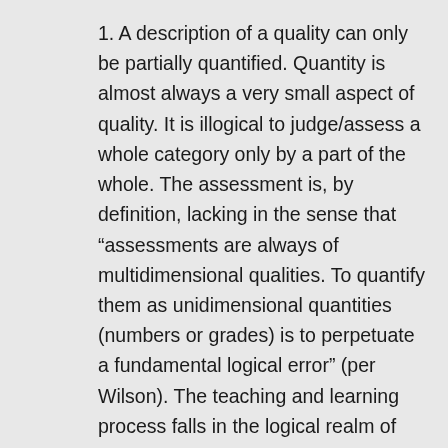1. A description of a quality can only be partially quantified. Quantity is almost always a very small aspect of quality. It is illogical to judge/assess a whole category only by a part of the whole. The assessment is, by definition, lacking in the sense that “assessments are always of multidimensional qualities. To quantify them as unidimensional quantities (numbers or grades) is to perpetuate a fundamental logical error” (per Wilson). The teaching and learning process falls in the logical realm of aesthetics/qualities of human interactions. In attempting to quantify educational standards and standardized testing the descriptive information about